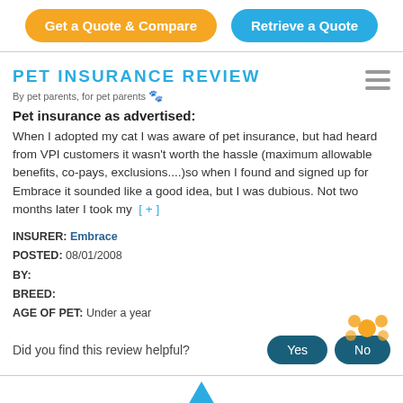Get a Quote & Compare | Retrieve a Quote
PET INSURANCE REVIEW
By pet parents, for pet parents 🐾
Pet insurance as advertised:
When I adopted my cat I was aware of pet insurance, but had heard from VPI customers it wasn't worth the hassle (maximum allowable benefits, co-pays, exclusions....)so when I found and signed up for Embrace it sounded like a good idea, but I was dubious. Not two months later I took my [+]
INSURER: Embrace
POSTED: 08/01/2008
BY:
BREED:
AGE OF PET: Under a year
Did you find this review helpful?